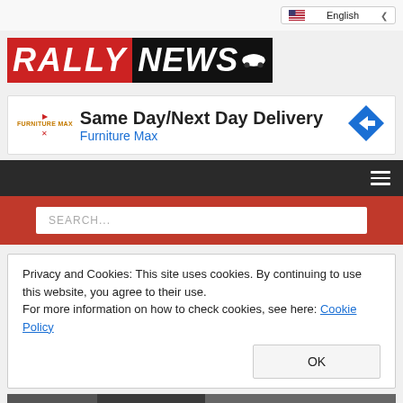[Figure (logo): RallyNews logo - RALLY in red bold italic, NEWS in black bold italic, with a car silhouette icon]
[Figure (infographic): Advertisement banner: Same Day/Next Day Delivery - Furniture Max, with blue navigation arrow icon]
[Figure (screenshot): Dark navigation bar with hamburger menu icon on right]
[Figure (screenshot): Red search bar with SEARCH... placeholder text input]
Privacy and Cookies: This site uses cookies. By continuing to use this website, you agree to their use.
For more information on how to check cookies, see here: Cookie Policy
[Figure (photo): Partial bottom image strip visible at page bottom]